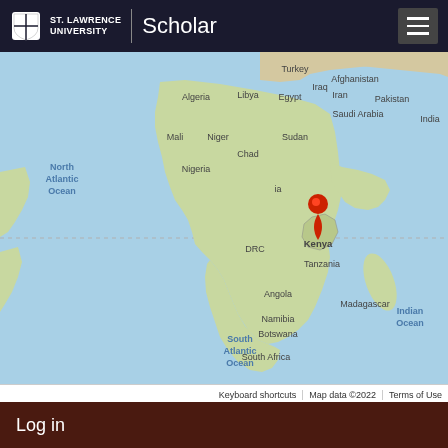ST. LAWRENCE UNIVERSITY | Scholar
[Figure (map): Google Maps view centered on Africa with a red location pin on Kenya. Visible labels include North Atlantic Ocean, South Atlantic Ocean, Indian Ocean, Turkey, Afghanistan, Pakistan, India, Iraq, Iran, Saudi Arabia, Algeria, Libya, Egypt, Mali, Niger, Chad, Nigeria, Sudan, DRC, Angola, Namibia, Botswana, South Africa, Tanzania, Madagascar, Kenya.]
Keyboard shortcuts | Map data ©2022 | Terms of Use
Kenya
Log in